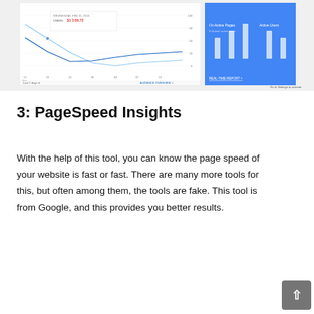[Figure (screenshot): Screenshot of Google Analytics dashboard showing a line chart with a tooltip displaying date and sessions value $1 3 86.72, and a blue real-time panel on the right side with bar indicators.]
3: PageSpeed Insights
With the help of this tool, you can know the page speed of your website is fast or fast. There are many more tools for this, but often among them, the tools are fake. This tool is from Google, and this provides you better results.